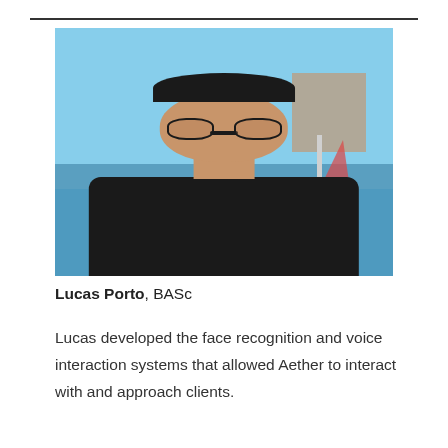[Figure (photo): Portrait photo of Lucas Porto, a young man with dark curly hair and round black-framed glasses, wearing a dark jacket, smiling. Background shows a waterfront with sailboats and buildings under a blue sky.]
Lucas Porto, BASc
Lucas developed the face recognition and voice interaction systems that allowed Aether to interact with and approach clients.